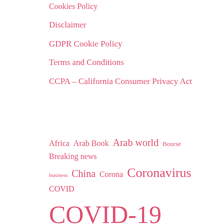Cookies Policy
Disclaimer
GDPR Cookie Policy
Terms and Conditions
CCPA – California Consumer Privacy Act
[Figure (infographic): Tag cloud with news-related terms in varying font sizes and pink color. Terms include: Africa, Arab Book, Arab world, Bourse, Breaking news, business, China, Corona, Coronavirus, COVID, COVID-19, Culture, economy, Europe, Football, France, from, health, International, investment, Latest news, Lebanon..., Manorama Online, new, News, News Agency, newspaper, Paris stock exchange, Political news, politics, quotes, results, Russia, sport, Sports, technology]